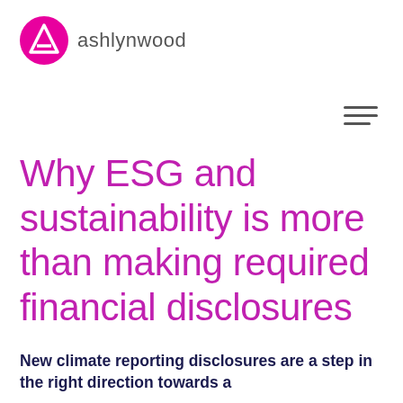[Figure (logo): Ashlynwood logo: magenta circle with white triangle/arrow icon, followed by the text 'ashlynwood' in grey]
Why ESG and sustainability is more than making required financial disclosures
New climate reporting disclosures are a step in the right direction towards a